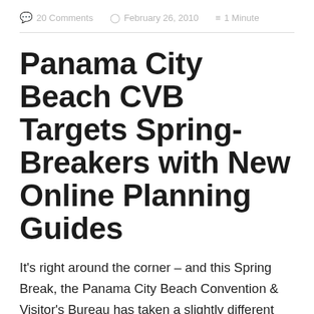20 Comments   February 26, 2010   1 Minute
Panama City Beach CVB Targets Spring-Breakers with New Online Planning Guides
It's right around the corner – and this Spring Break, the Panama City Beach Convention & Visitor's Bureau has taken a slightly different approach. Aimed at sending a serious message in a fun way, the CVB has created new online guides for the thousands of college students heading to Panama City Beach and its...